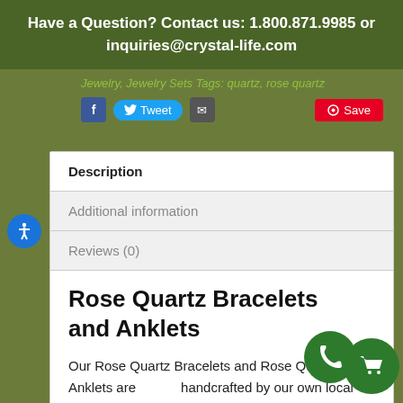Have a Question? Contact us: 1.800.871.9985 or inquiries@crystal-life.com
Jewelry, Jewelry Sets Tags: quartz, rose quartz
Description
Additional information
Reviews (0)
Rose Quartz Bracelets and Anklets
Our Rose Quartz Bracelets and Rose Quartz Anklets are handcrafted by our own local artisans on flexible steel